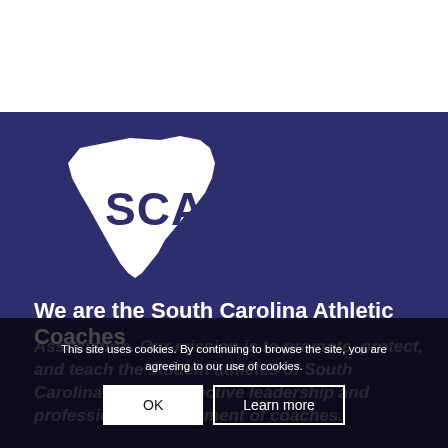[Figure (logo): SCACA logo — white silhouette of South Carolina state with bold text 'SCACA' overlaid, on dark navy/purple background]
We are the South Carolina Athletic Coaches
Association. Our mission is to promote, protect, and teach the student athletes of South Carolina through effective leadership and professional development of coaches.
This site uses cookies. By continuing to browse the site, you are agreeing to our use of cookies.